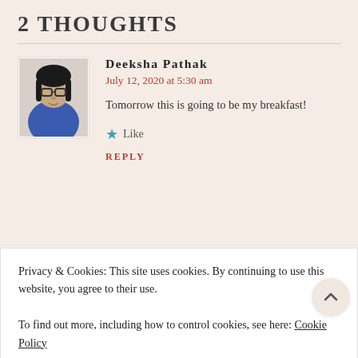2 THOUGHTS
Deeksha Pathak
July 12, 2020 at 5:30 am
Tomorrow this is going to be my breakfast!
Like
REPLY
Privacy & Cookies: This site uses cookies. By continuing to use this website, you agree to their use.
To find out more, including how to control cookies, see here: Cookie Policy
CLOSE AND ACCEPT
Liked by 1 person